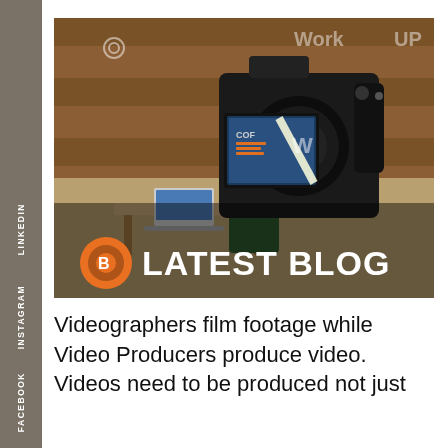[Figure (photo): A DSLR camera on a tripod filming a person seated in a co-working space interior. The camera's LCD screen shows the scene. An orange circle blogger icon and white bold text 'LATEST BLOG' overlaid at the bottom of the image.]
Videographers film footage while Video Producers produce video. Videos need to be produced not just